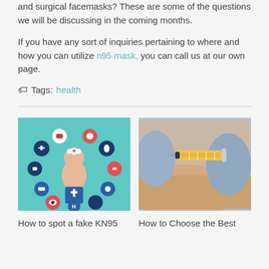and surgical facemasks? These are some of the questions we will be discussing in the coming months.
If you have any sort of inquiries pertaining to where and how you can utilize ng5 mask, you can call us at our own page.
Tags: health
[Figure (illustration): Healthcare illustration showing a nurse figure surrounded by various medical icons on a teal background]
[Figure (photo): Photo of a gloved hand holding a syringe injecting into a person's arm]
How to spot a fake KN95
How to Choose the Best